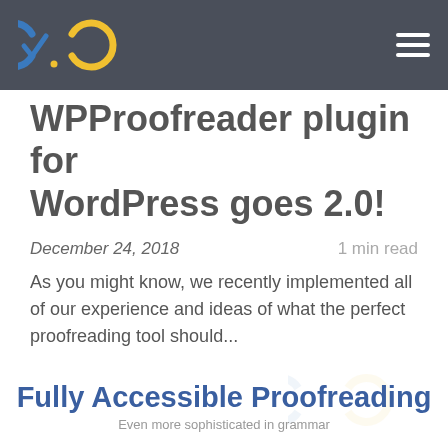WPProofreader plugin for WordPress goes 2.0!
WPProofreader plugin for WordPress goes 2.0!
December 24, 2018 · 1 min read
As you might know, we recently implemented all of our experience and ideas of what the perfect proofreading tool should...
Read More >
Fully Accessible Proofreading
Even more sophisticated in grammar